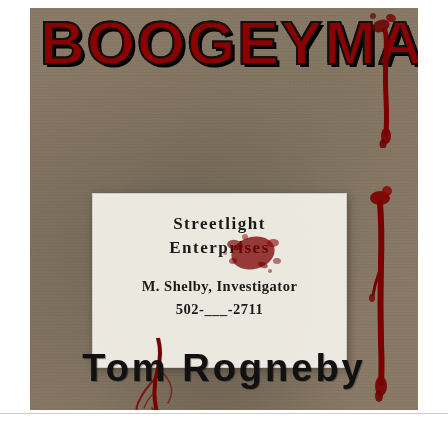[Figure (illustration): Book cover for 'Boogeyman' by Tom Rogneby. Grungy stone/concrete textured background in brownish-gray tones with dark red blood drips and splatters. Large red title 'BOOGEYMAN' at top with black outline. A business card overlay reads 'Streetlight Enterprises / M. Shelby, Investigator / 502-___-2711' with blood splatter on it. A blood drip runs down the right side. Author name 'TOM ROGNEBY' in large black letters at bottom.]
BOOGEYMAN
Streetlight Enterprises
M. Shelby, Investigator
502-___-2711
TOM ROGNEBY